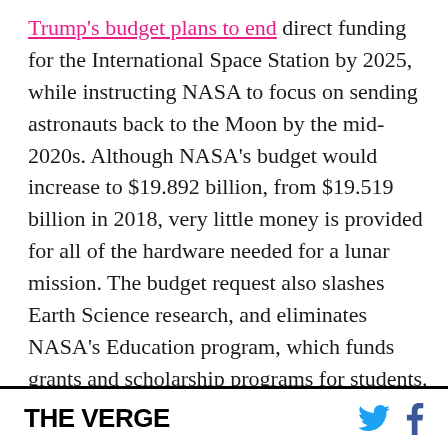Trump's budget plans to end direct funding for the International Space Station by 2025, while instructing NASA to focus on sending astronauts back to the Moon by the mid-2020s. Although NASA's budget would increase to $19.892 billion, from $19.519 billion in 2018, very little money is provided for all of the hardware needed for a lunar mission. The budget request also slashes Earth Science research, and eliminates NASA's Education program, which funds grants and scholarship programs for students. The budget would also eliminate the WFIRST mission, which includes the development of a new space-based telescope to
THE VERGE